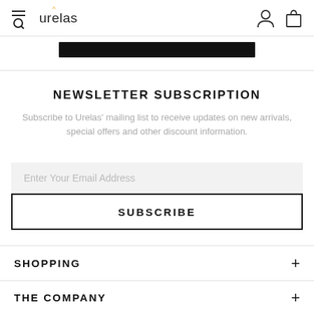urelas
[Figure (other): Black rectangular bar (partially visible UI element)]
NEWSLETTER SUBSCRIPTION
Subscribe to Urelas' mailing list to receive updates on new arrivals, special offers and other discount information.
Enter Your Email Address
SUBSCRIBE
SHOPPING
THE COMPANY